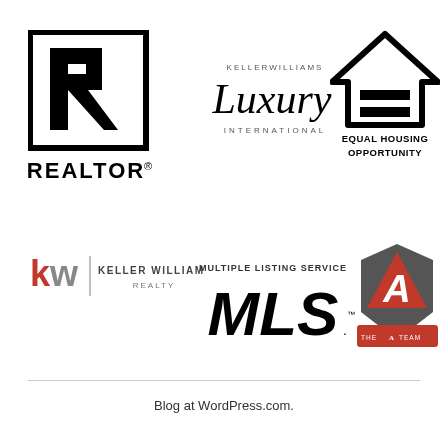[Figure (logo): REALTOR logo - large black R in square with text REALTOR below]
[Figure (logo): Keller Williams Luxury International logo - script Luxury text with KELLERWILLIAMS above and INTERNATIONAL below]
[Figure (logo): Equal Housing Opportunity logo - house outline with equal sign, text EQUAL HOUSING OPPORTUNITY below]
[Figure (logo): Keller Williams Realty logo - kw in red with KELLER WILLIAMS REALTY text]
[Figure (logo): Multiple Listing Service MLS logo - MULTIPLE LISTING SERVICE text above large italic MLS with trademark]
[Figure (logo): The A Team logo - red triangle with A inside on shield background]
Blog at WordPress.com.